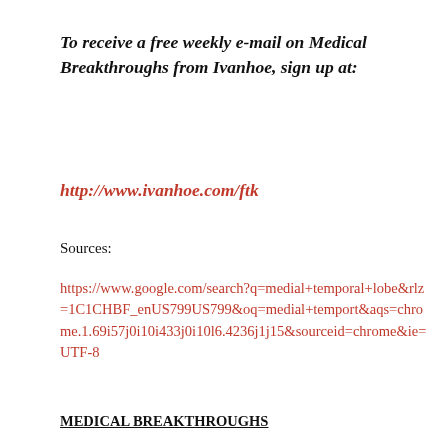To receive a free weekly e-mail on Medical Breakthroughs from Ivanhoe, sign up at:
http://www.ivanhoe.com/ftk
Sources:
https://www.google.com/search?q=medial+temporal+lobe&rlz=1C1CHBF_enUS799US799&oq=medial+temport&aqs=chrome.1.69i57j0i10i433j0i10l6.4236j1j15&sourceid=chrome&ie=UTF-8
MEDICAL BREAKTHROUGHS